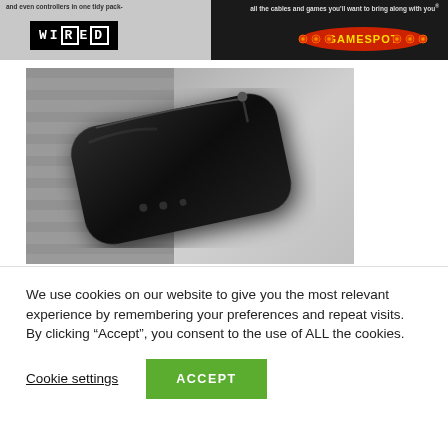[Figure (photo): Advertisement banner showing WIRED and GAMESPOT logos with product tagline text]
[Figure (photo): Close-up black and white photo of a black zippered carrying case/bag for electronics, shown at an angle against a striped background]
We use cookies on our website to give you the most relevant experience by remembering your preferences and repeat visits. By clicking “Accept”, you consent to the use of ALL the cookies.
Cookie settings
ACCEPT